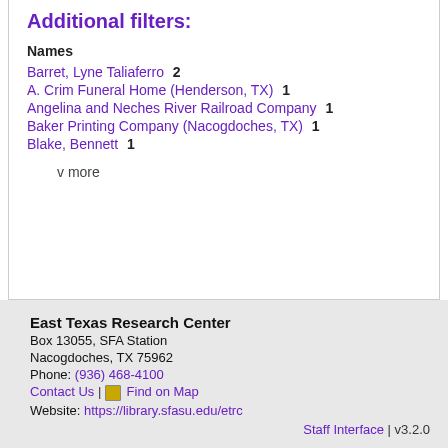Additional filters:
Names
Barret, Lyne Taliaferro  2
A. Crim Funeral Home (Henderson, TX)  1
Angelina and Neches River Railroad Company  1
Baker Printing Company (Nacogdoches, TX)  1
Blake, Bennett  1
v more
East Texas Research Center
Box 13055, SFA Station
Nacogdoches, TX 75962
Phone: (936) 468-4100
Contact Us | Find on Map
Website: https://library.sfasu.edu/etrc
Staff Interface | v3.2.0